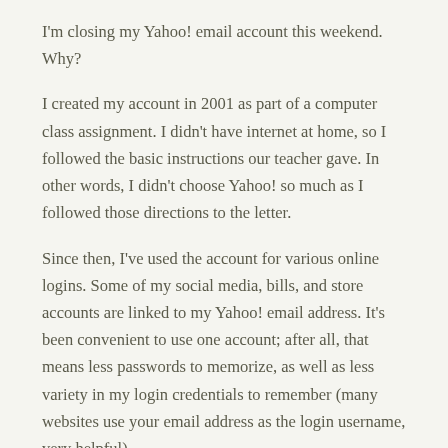I'm closing my Yahoo! email account this weekend. Why?
I created my account in 2001 as part of a computer class assignment. I didn't have internet at home, so I followed the basic instructions our teacher gave. In other words, I didn't choose Yahoo! so much as I followed those directions to the letter.
Since then, I've used the account for various online logins. Some of my social media, bills, and store accounts are linked to my Yahoo! email address. It's been convenient to use one account; after all, that means less passwords to memorize, as well as less variety in my login credentials to remember (many websites use your email address as the login username, very helpful).
I had a decent, private password and security questions I